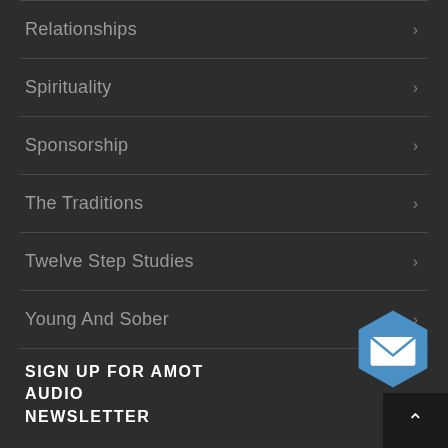Relationships
Spirituality
Sponsorship
The Traditions
Twelve Step Studies
Young And Sober
SIGN UP FOR AMOT AUDIO NEWSLETTER
[Figure (illustration): Blue hexagon icon with envelope/mail symbol inside]